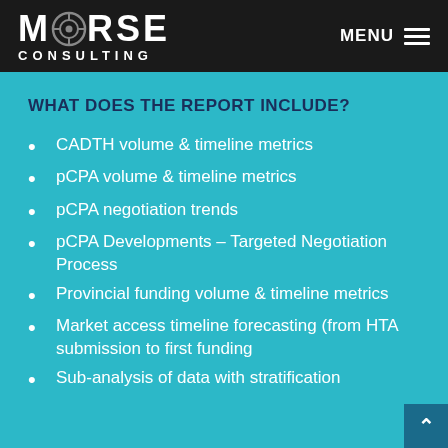MORSE CONSULTING | MENU
WHAT DOES THE REPORT INCLUDE?
CADTH volume & timeline metrics
pCPA volume & timeline metrics
pCPA negotiation trends
pCPA Developments – Targeted Negotiation Process
Provincial funding volume & timeline metrics
Market access timeline forecasting (from HTA submission to first funding
Sub-analysis of data with stratification